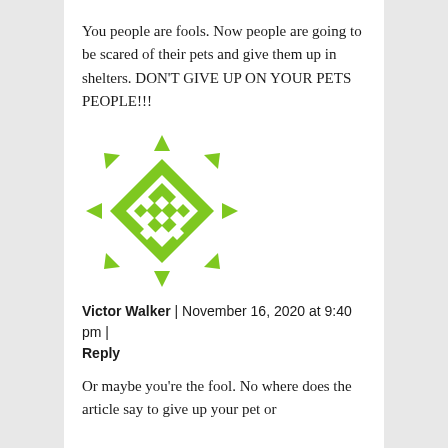You people are fools. Now people are going to be scared of their pets and give them up in shelters. DON'T GIVE UP ON YOUR PETS PEOPLE!!!
[Figure (illustration): Green geometric avatar/icon with diamond and arrow pattern]
Victor Walker | November 16, 2020 at 9:40 pm | Reply
Or maybe you're the fool. No where does the article say to give up your pet or